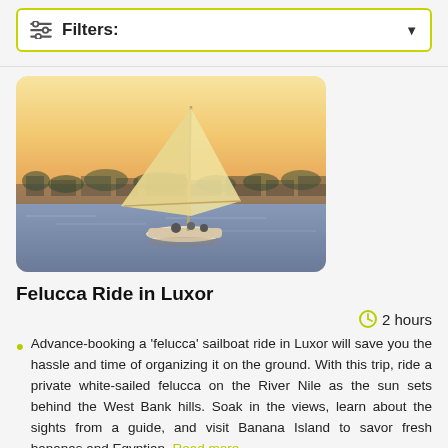Filters:
[Figure (photo): A felucca sailboat with a tall white sail on the River Nile at sunset, with a city skyline and trees in the background, warm orange/golden sky.]
Felucca Ride in Luxor
2 hours
Advance-booking a 'felucca' sailboat ride in Luxor will save you the hassle and time of organizing it on the ground. With this trip, ride a private white-sailed felucca on the River Nile as the sun sets behind the West Bank hills. Soak in the views, learn about the sights from a guide, and visit Banana Island to savor fresh bananas and Egyptian. Read more